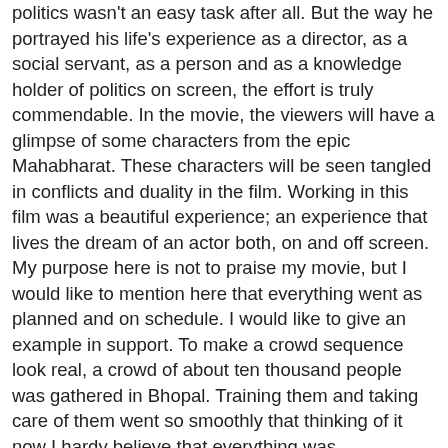politics wasn't an easy task after all. But the way he portrayed his life's experience as a director, as a social servant, as a person and as a knowledge holder of politics on screen, the effort is truly commendable. In the movie, the viewers will have a glimpse of some characters from the epic Mahabharat. These characters will be seen tangled in conflicts and duality in the film. Working in this film was a beautiful experience; an experience that lives the dream of an actor both, on and off screen. My purpose here is not to praise my movie, but I would like to mention here that everything went as planned and on schedule. I would like to give an example in support. To make a crowd sequence look real, a crowd of about ten thousand people was gathered in Bhopal. Training them and taking care of them went so smoothly that thinking of it now I hardy believe that everything was accomplished easily. Later, I got to know that this huge group of ten thousand people was actually trained for about 8 months before the actual shooting. Today when I am done with my film's dubbing I feel that I have done something big and consequential.